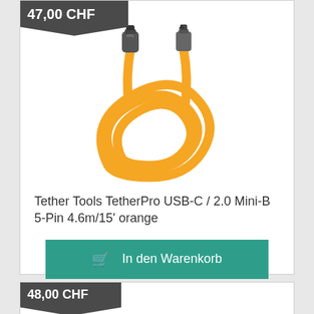47,00 CHF
[Figure (photo): Orange USB-C to Mini-B 5-Pin cable coiled, showing both connectors at the top]
Tether Tools TetherPro USB-C / 2.0 Mini-B 5-Pin 4.6m/15' orange
In den Warenkorb
48,00 CHF